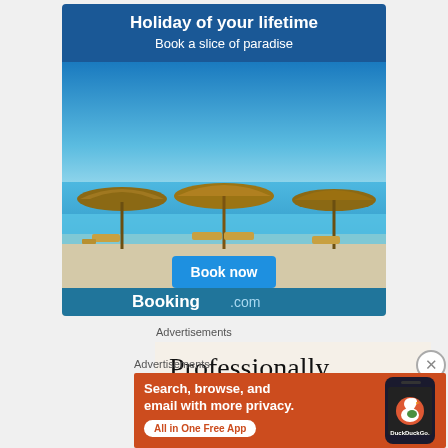[Figure (illustration): Booking.com advertisement banner showing a beach resort with thatched umbrellas and lounge chairs by an infinity pool. Header reads 'Holiday of your lifetime' and 'Book a slice of paradise'. Contains a 'Book now' button and Booking.com branding.]
Advertisements
[Figure (illustration): Advertisement banner with cream/beige background showing large serif text 'Professionally designed sites in less...' (partially visible)]
Advertisements
[Figure (illustration): DuckDuckGo advertisement on orange-red background. Text reads 'Search, browse, and email with more privacy.' with 'All in One Free App' button and DuckDuckGo logo with duck icon on a phone graphic.]